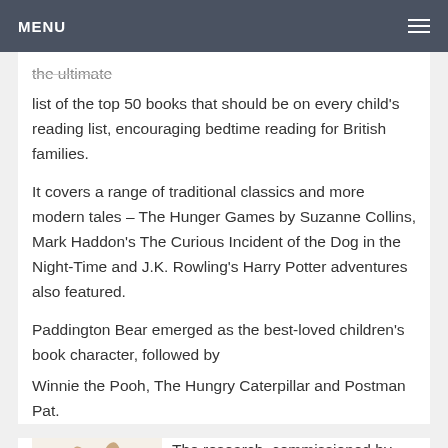MENU
the ultimate
list of the top 50 books that should be on every child's reading list, encouraging bedtime reading for British families.
It covers a range of traditional classics and more modern tales – The Hunger Games by Suzanne Collins, Mark Haddon's The Curious Incident of the Dog in the Night-Time and J.K. Rowling's Harry Potter adventures also featured.
Paddington Bear emerged as the best-loved children's book character, followed by
Winnie the Pooh, The Hungry Caterpillar and Postman Pat.
[Figure (illustration): Illustration of Peter Rabbit, a cartoon rabbit wearing a blue jacket, standing upright]
The research, commissioned by Sainsbury's to celebrate World Book Day, found C.S. Lewis' adventures in Narnia are no less thrilling today – The Lion, the Witch and the Wardrobe